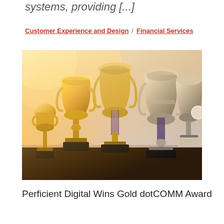systems, providing [...]
Customer Experience and Design / Financial Services
[Figure (photo): Multiple gold and silver trophy cups arranged in a row on a dark surface, with warm golden light on the left side. The trophies vary in size and style, some with medals/ribbons draped over them.]
Perficient Digital Wins Gold dotCOMM Award